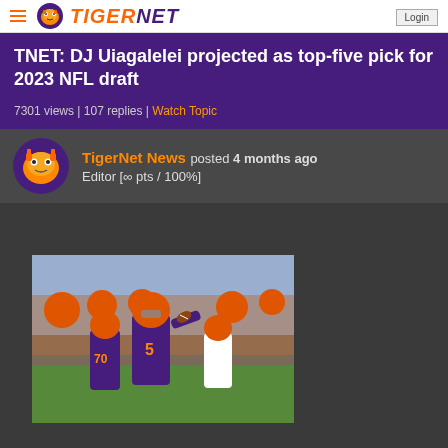TigerNet
TNET: DJ Uiagalelei projected as top-five pick for 2023 NFL draft
7301 views | 107 replies | Watch Topic
TigerNet News posted 4 months ago
Editor [∞ pts / 100%]
[Figure (photo): DJ Uiagalelei #5 in Clemson purple jersey throwing a pass during a football game, with orange-uniformed players in background]